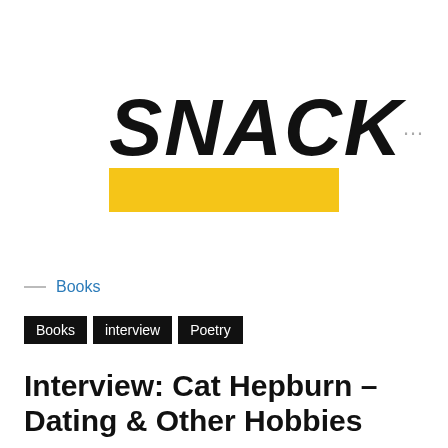[Figure (logo): SNACK logo in bold black italic uppercase letters with a yellow rectangle bar beneath it]
...
— Books
Books  interview  Poetry
Interview: Cat Hepburn – Dating & Other Hobbies